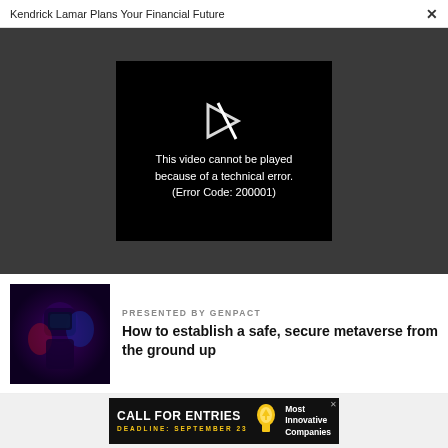Kendrick Lamar Plans Your Financial Future ✕
[Figure (screenshot): Video player showing error: 'This video cannot be played because of a technical error. (Error Code: 200001)']
PRESENTED BY GENPACT
How to establish a safe, secure metaverse from the ground up
[Figure (photo): Dark atmospheric photo of a person wearing futuristic VR/helmet with blue and red lighting]
[Figure (infographic): Advertisement: CALL FOR ENTRIES, DEADLINE: SEPTEMBER 23, Most Innovative Companies]